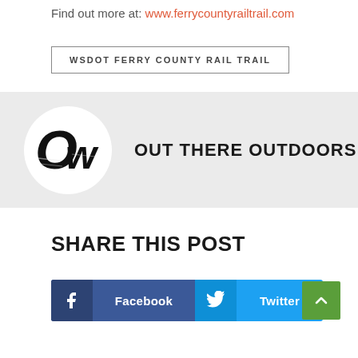Find out more at: www.ferrycountyrailtrail.com
WSDOT FERRY COUNTY RAIL TRAIL
[Figure (logo): Out There Outdoors logo: circular white background with bold black 'Ow' letters, beside text 'OUT THERE OUTDOORS' in bold uppercase on light gray banner]
SHARE THIS POST
Facebook  Twitter